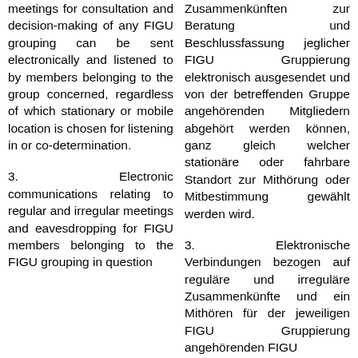meetings for consultation and decision-making of any FIGU grouping can be sent electronically and listened to by members belonging to the group concerned, regardless of which stationary or mobile location is chosen for listening in or co-determination.
Zusammenkünften zur Beratung und Beschlussfassung jeglicher FIGU Gruppierung elektronisch ausgesendet und von der betreffenden Gruppe angehörenden Mitgliedern abgehört werden können, ganz gleich welcher stationäre oder fahrbare Standort zur Mithörung oder Mitbestimmung gewählt werden wird.
3.   Electronic communications relating to regular and irregular meetings and eavesdropping for FIGU members belonging to the FIGU grouping in question
3.   Elektronische Verbindungen bezogen auf reguläre und irreguläre Zusammenkünfte und ein Mithören für der jeweiligen FIGU Gruppierung angehörenden FIGU